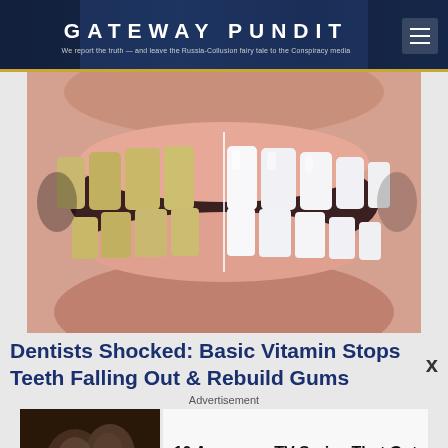GATEWAY PUNDIT — We report the truth — and leave the Russia-Collusion fairy tale to the Conspiracy media
[Figure (photo): Close-up of a person's smile showing teeth, split between yellowed/stained teeth on the left and bright white teeth on the right, used as a before/after comparison for teeth whitening]
Dentists Shocked: Basic Vitamin Stops Teeth Falling Out & Rebuild Gums
Advertisement
[Figure (photo): Thumbnail image of a TV show scene with two people]
10 Awesome TV Series That Got Cancelled Way Too Soon
Brainberries